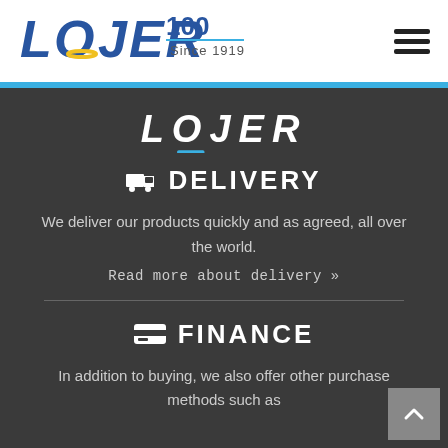LOJER 100 Since 1919
[Figure (logo): LOJER logo with '100 Since 1919' text and hamburger menu icon]
LOJER
DELIVERY
We deliver our products quickly and as agreed, all over the world.
Read more about delivery »
FINANCE
In addition to buying, we also offer other purchase methods such as